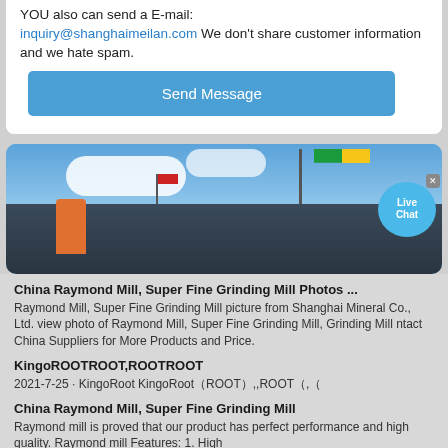YOU also can send a E-mail: inquiry@shanghaimeilan.com We don't share customer information and we hate spam.
Send Message
[Figure (photo): Photo of industrial grinding mill equipment outdoors with blue sky and clouds, flags visible, a worker in orange clothing, and a Live Chat bubble overlay in the top right corner.]
China Raymond Mill, Super Fine Grinding Mill Photos ...
Raymond Mill, Super Fine Grinding Mill picture from Shanghai Mineral Co., Ltd. view photo of Raymond Mill, Super Fine Grinding Mill, Grinding Mill ntact China Suppliers for More Products and Price.
KingoROOTROOT,ROOTROOT
2021-7-25 · KingoRoot KingoRoot（ROOT）,,ROOT（,（
China Raymond Mill, Super Fine Grinding Mill
Raymond mill is proved that our product has perfect performance and high quality. Raymond mill Features: 1. High